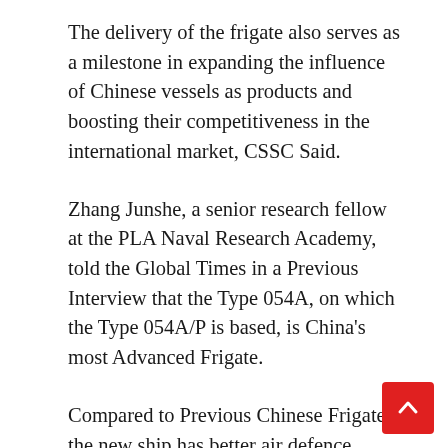The delivery of the frigate also serves as a milestone in expanding the influence of Chinese vessels as products and boosting their competitiveness in the international market, CSSC Said.
Zhang Junshe, a senior research fellow at the PLA Naval Research Academy, told the Global Times in a Previous Interview that the Type 054A, on which the Type 054A/P is based, is China's most Advanced Frigate.
Compared to Previous Chinese Frigates, the new ship has better air defence capability, as it is equipped with an improved radar system and a larger amount of missiles with a longer range, Zhang said, noting that the Type 054A Frigate also has world-class stealth capability. (Global Times